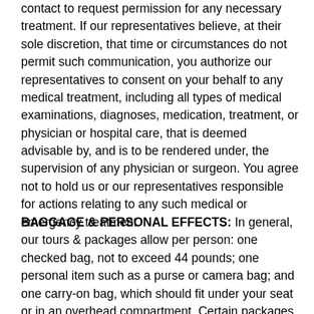contact to request permission for any necessary treatment. If our representatives believe, at their sole discretion, that time or circumstances do not permit such communication, you authorize our representatives to consent on your behalf to any medical treatment, including all types of medical examinations, diagnoses, medication, treatment, or physician or hospital care, that is deemed advisable by, and is to be rendered under, the supervision of any physician or surgeon. You agree not to hold us or our representatives responsible for actions relating to any such medical or emergency treatment.
BAGGAGE & PERSONAL EFFECTS: In general, our tours & packages allow per person: one checked bag, not to exceed 44 pounds; one personal item such as a purse or camera bag; and one carry-on bag, which should fit under your seat or in an overhead compartment. Certain packages may have different or additional restrictions imposed by airlines, motor coaches, ships, safari vehicles, etc. We will send you specific baggage allowance information at least 14 days prior to departure. You can also review our Airline Baggage Allowances